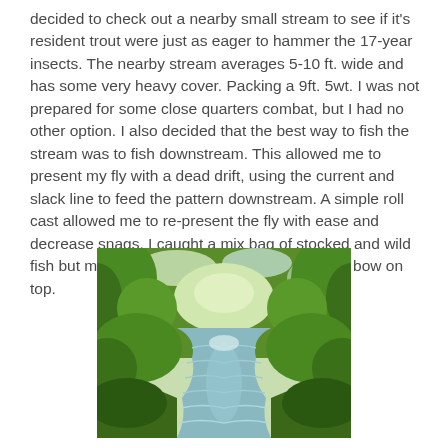decided to check out a nearby small stream to see if it's resident trout were just as eager to hammer the 17-year insects. The nearby stream averages 5-10 ft. wide and has some very heavy cover. Packing a 9ft. 5wt. I was not prepared for some close quarters combat, but I had no other option. I also decided that the best way to fish the stream was to fish downstream. This allowed me to present my fly with a dead drift, using the current and slack line to feed the pattern downstream. A simple roll cast allowed me to re-present the fly with ease and decrease snags. I caught a mix bag of stocked and wild fish but managed to catch a brown, brook, and bow on top.
[Figure (photo): A small tree-lined stream with green foliage on both sides, flowing water visible in the center, viewed looking downstream.]